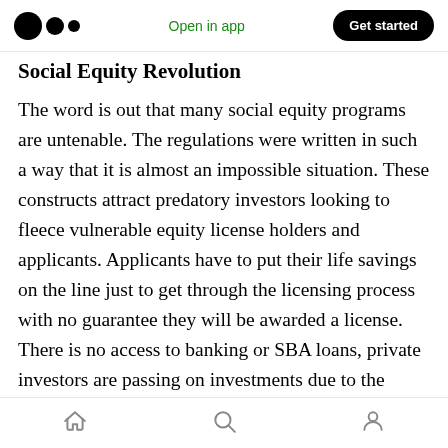Open in app | Get started
Social Equity Revolution
The word is out that many social equity programs are untenable. The regulations were written in such a way that it is almost an impossible situation. These constructs attract predatory investors looking to fleece vulnerable equity license holders and applicants. Applicants have to put their life savings on the line just to get through the licensing process with no guarantee they will be awarded a license. There is no access to banking or SBA loans, private investors are passing on investments due to the
Home | Search | Profile